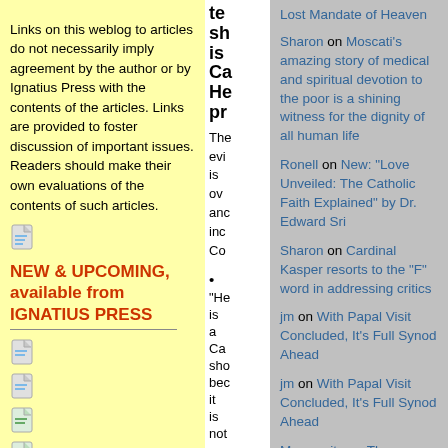Links on this weblog to articles do not necessarily imply agreement by the author or by Ignatius Press with the contents of the articles. Links are provided to foster discussion of important issues. Readers should make their own evaluations of the contents of such articles.
[Figure (other): Small document/file icon placeholder]
NEW & UPCOMING, available from IGNATIUS PRESS
[Figure (other): Small document/file icon placeholder]
[Figure (other): Small document/file icon placeholder]
[Figure (other): Small document/file icon placeholder]
[Figure (other): Small document/file icon placeholder]
te sh is Ca He pr
The evi is ov anc inc Co
• "He is a Ca sho bec it is not
Lost Mandate of Heaven
Sharon on Moscati's amazing story of medical and spiritual devotion to the poor is a shining witness for the dignity of all human life
Ronell on New: "Love Unveiled: The Catholic Faith Explained" by Dr. Edward Sri
Sharon on Cardinal Kasper resorts to the "F" word in addressing critics
jm on With Papal Visit Concluded, It's Full Synod Ahead
jm on With Papal Visit Concluded, It's Full Synod Ahead
Marguerite on The Merciful Call to Holiness